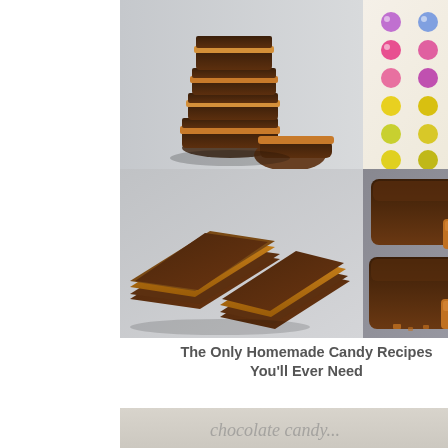[Figure (photo): A collage of four food photos: top-left shows stacked layered chocolate caramel candies; top-right shows colorful candy dots on paper; bottom-left shows chocolate-dipped candy bars from a different angle; bottom-right shows chocolate-covered candy pieces with caramel.]
The Only Homemade Candy Recipes You'll Ever Need
[Figure (photo): Partial view of a second food/recipe image at the bottom of the page, with cursive text overlay partially visible.]